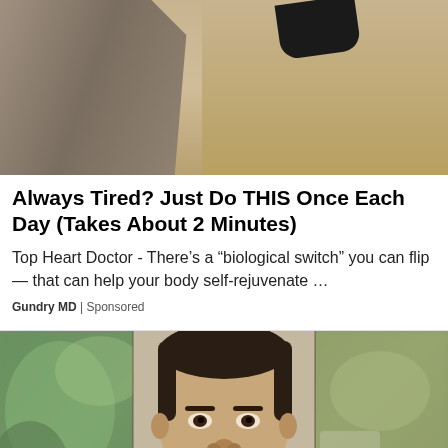[Figure (photo): A person in a grey suit holding a large dark device (like a gun-shaped tool) pointed at a beige/tan wall, partial view showing torso and arms]
Always Tired? Just Do THIS Once Each Day (Takes About 2 Minutes)
Top Heart Doctor - There’s a “biological switch” you can flip — that can help your body self-rejuvenate …
Gundry MD | Sponsored
[Figure (photo): A mugshot-style photo of a Hispanic man with short dark hair and neck tattoos, shown from shoulders up, against a light background. Flanked by blurred outdoor background images on left and right.]